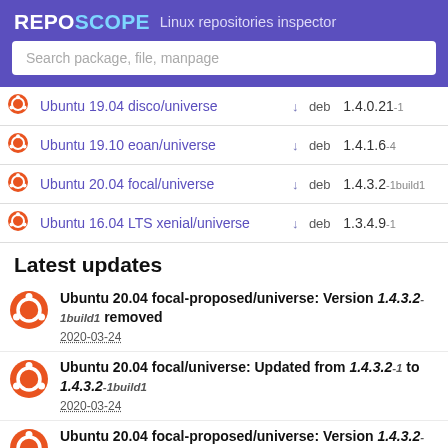REPOSCOPE Linux repositories inspector
Search package, file, manpage
|  | Repository |  | Type | Version |
| --- | --- | --- | --- | --- |
|  | Ubuntu 19.04 disco/universe | ↓ | deb | 1.4.0.21-1 |
|  | Ubuntu 19.10 eoan/universe | ↓ | deb | 1.4.1.6-4 |
|  | Ubuntu 20.04 focal/universe | ↓ | deb | 1.4.3.2-1build1 |
|  | Ubuntu 16.04 LTS xenial/universe | ↓ | deb | 1.3.4.9-1 |
Latest updates
Ubuntu 20.04 focal-proposed/universe: Version 1.4.3.2-1build1 removed
2020-03-24
Ubuntu 20.04 focal/universe: Updated from 1.4.3.2-1 to 1.4.3.2-1build1
2020-03-24
Ubuntu 20.04 focal-proposed/universe: Version 1.4.3.2-1build1 introduced